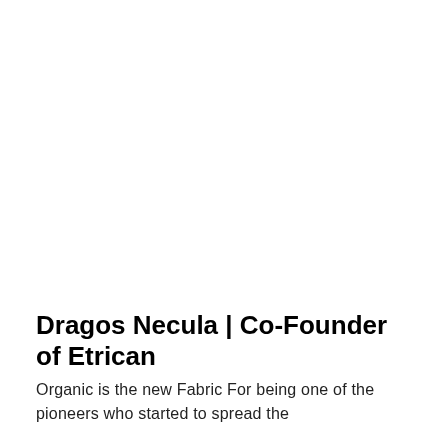Dragos Necula | Co-Founder of Etrican
Organic is the new Fabric For being one of the pioneers who started to spread the